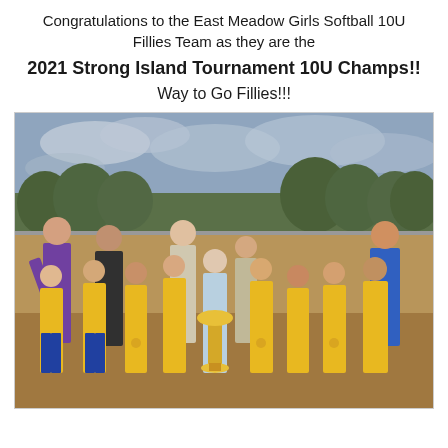Congratulations to the East Meadow Girls Softball 10U Fillies Team as they are the
2021 Strong Island Tournament 10U Champs!!
Way to Go Fillies!!!
[Figure (photo): Group photo of the East Meadow Girls Softball 10U Fillies Team celebrating their championship win. Girls wearing yellow jerseys and blue pants, holding a large trophy and medals, posing on a softball field with coaches. Cloudy sky and trees in background.]